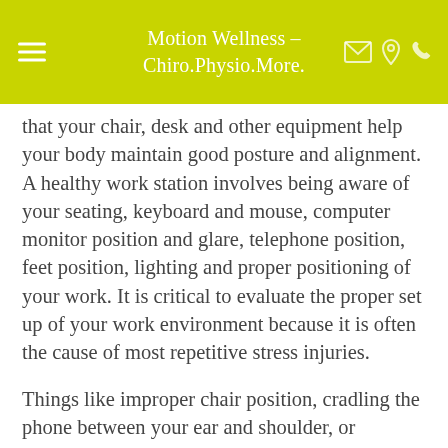Motion Wellness – Chiro.Physio.More.
that your chair, desk and other equipment help your body maintain good posture and alignment. A healthy work station involves being aware of your seating, keyboard and mouse, computer monitor position and glare, telephone position, feet position, lighting and proper positioning of your work. It is critical to evaluate the proper set up of your work environment because it is often the cause of most repetitive stress injuries.
Things like improper chair position, cradling the phone between your ear and shoulder, or straining your neck to look at your computer monitor is not a big deal every once in a while, but when you do the same repetitive motions for several hours a day, several days a week, several weeks a month and so